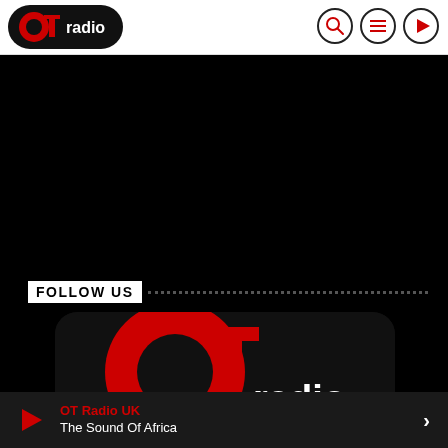[Figure (logo): OT Radio logo — black rounded rectangle background with red circular O, T letterform, and white 'radio' text]
[Figure (other): Navigation header icons: search (magnifying glass), menu (hamburger lines), play button — all in black circle outlines]
[Figure (other): Large black area below header — main content region]
FOLLOW US
[Figure (other): OT Radio social media card with rounded corners showing large OT Radio logo on black background]
OT Radio UK
The Sound Of Africa